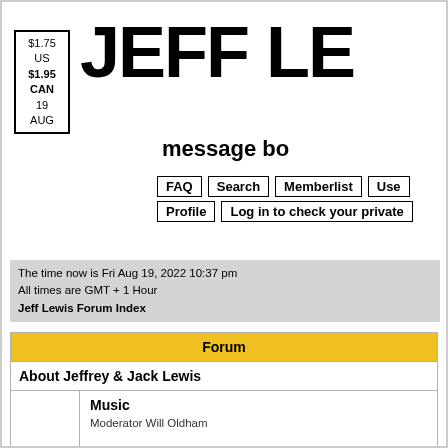$1.75 US $1.95 CAN 19 AUG
JEFF LE
message bo
FAQ | Search | Memberlist | Use | Profile | Log in to check your private
The time now is Fri Aug 19, 2022 10:37 pm
All times are GMT + 1 Hour
Jeff Lewis Forum Index
| Forum |
| --- |
| About Jeffrey & Jack Lewis |
| Music
Moderator Will Oldham |
| Live
Moderator Will Oldham |